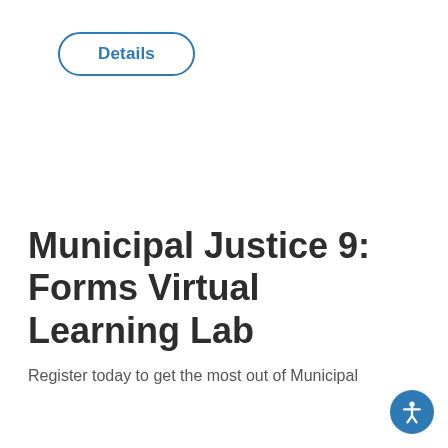[Figure (other): A rounded rectangle button with blue border and blue text reading 'Details']
Municipal Justice 9: Forms Virtual Learning Lab
Register today to get the most out of Municipal